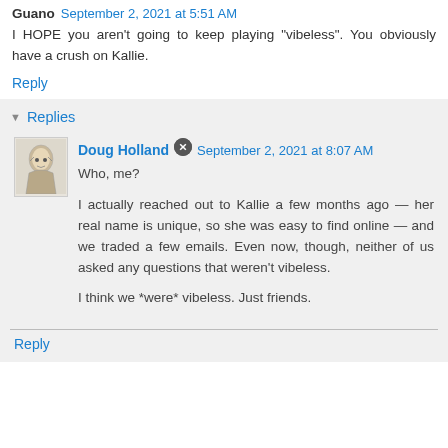Guano  September 2, 2021 at 5:51 AM
I HOPE you aren't going to keep playing "vibeless". You obviously have a crush on Kallie.
Reply
Replies
Doug Holland  September 2, 2021 at 8:07 AM
Who, me?
I actually reached out to Kallie a few months ago — her real name is unique, so she was easy to find online — and we traded a few emails. Even now, though, neither of us asked any questions that weren't vibeless.
I think we *were* vibeless. Just friends.
Reply